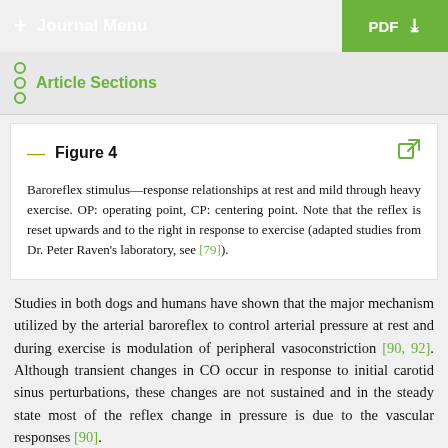+ Journal Menu | PDF
Article Sections
Figure 4
Baroreflex stimulus—response relationships at rest and mild through heavy exercise. OP: operating point, CP: centering point. Note that the reflex is reset upwards and to the right in response to exercise (adapted studies from Dr. Peter Raven's laboratory, see [79]).
Studies in both dogs and humans have shown that the major mechanism utilized by the arterial baroreflex to control arterial pressure at rest and during exercise is modulation of peripheral vasoconstriction [90, 92]. Although transient changes in CO occur in response to initial carotid sinus perturbations, these changes are not sustained and in the steady state most of the reflex change in pressure is due to the vascular responses [90]. As workload increases, blood flow to the active skeletal muscle